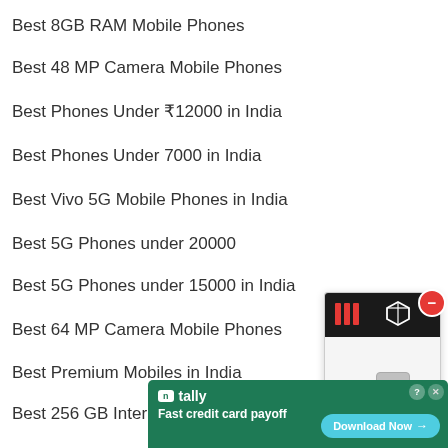Best 8GB RAM Mobile Phones
Best 48 MP Camera Mobile Phones
Best Phones Under ₹12000 in India
Best Phones Under 7000 in India
Best Vivo 5G Mobile Phones in India
Best 5G Phones under 20000
Best 5G Phones under 15000 in India
Best 64 MP Camera Mobile Phones
Best Premium Mobiles in India
Best 256 GB Internal Memory Mobile Phones
Best 12...
[Figure (screenshot): Floating product widget showing tech accessories with a red close/minus button and a cube icon]
[Figure (screenshot): Advertisement banner for Tally app - Fast credit card payoff with Download Now button on green/teal background]